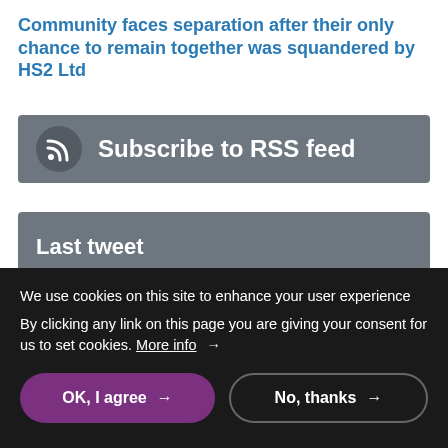Community faces separation after their only chance to remain together was squandered by HS2 Ltd
[Figure (infographic): Grey subscription bar with RSS icon and text: Subscribe to RSS feed]
[Figure (infographic): Partial grey bar with partial text visible at top of cookie overlay]
We use cookies on this site to enhance your user experience
By clicking any link on this page you are giving your consent for us to set cookies. More info →
OK, I agree → | No, thanks →